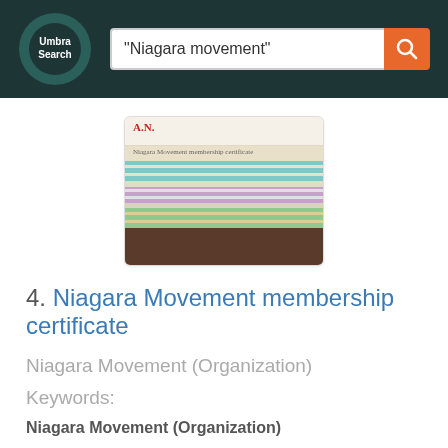[Figure (screenshot): Umbra Search website header with logo and search bar containing the query 'Niagara movement']
[Figure (photo): Thumbnail image of the Niagara Movement membership certificate document showing colorful horizontal bands and a dark photograph strip at the bottom]
4. Niagara Movement membership certificate
Niagara Movement (Organization)
Keywords:
Niagara Movement (Organization)
View